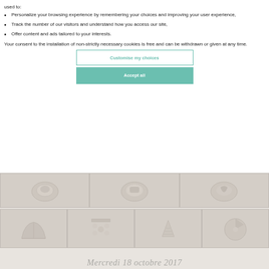Personalize your browsing experience by remembering your choices and improving your user experience,
Track the number of our visitors and understand how you access our site,
Offer content and ads tailored to your interests.
Your consent to the installation of non-strictly necessary cookies is free and can be withdrawn or given at any time.
Customise my choices
Accept all
[Figure (photo): Grid of food/dish photos shown in faded/muted tones as website background]
Mercredi 18 octobre 2017